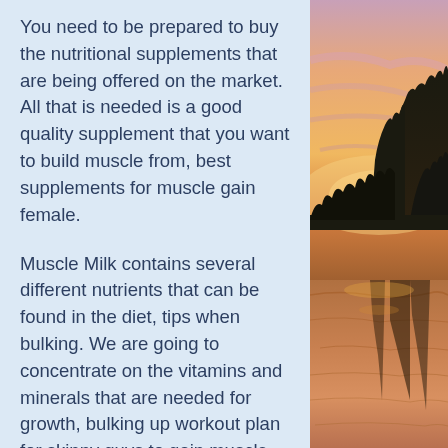You need to be prepared to buy the nutritional supplements that are being offered on the market. All that is needed is a good quality supplement that you want to build muscle from, best supplements for muscle gain female.
Muscle Milk contains several different nutrients that can be found in the diet, tips when bulking. We are going to concentrate on the vitamins and minerals that are needed for growth, bulking up workout plan for skinny guys to gain muscle. But you should also understand that just because you may need them, doesn't mean that you should put them in your body. As far as possible, you should take your supplements individually as well.
Why Do You Need Vitamins And Minerals For Growth, the best bulking sarms?
[Figure (photo): Sunset landscape photo showing silhouetted trees reflecting on a body of water, with orange and pink sky gradients.]